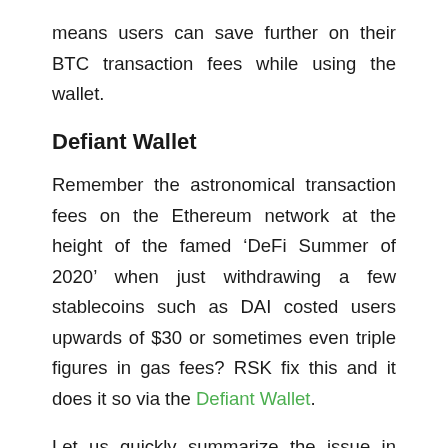means users can save further on their BTC transaction fees while using the wallet.
Defiant Wallet
Remember the astronomical transaction fees on the Ethereum network at the height of the famed ‘DeFi Summer of 2020’ when just withdrawing a few stablecoins such as DAI costed users upwards of $30 or sometimes even triple figures in gas fees? RSK fix this and it does it so via the Defiant Wallet.
Let us quickly summarize the issue in hand. Typically, depending on the amount being